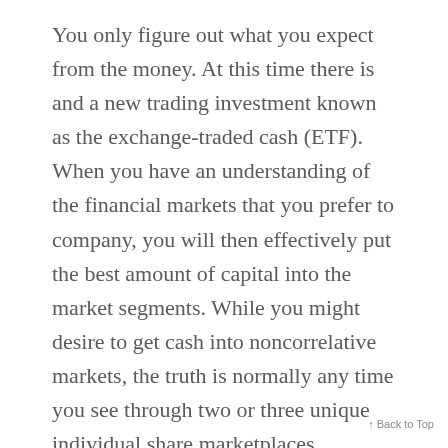You only figure out what you expect from the money. At this time there is and a new trading investment known as the exchange-traded cash (ETF). When you have an understanding of the financial markets that you prefer to company, you will then effectively put the best amount of capital into the market segments. While you might desire to get cash into noncorrelative markets, the truth is normally any time you see through two or three unique individual share marketplaces, discover also much interrelationship to effectively reduce overexposure to exactly the same pair of macroeconomic items. To start with, the
↑ Back to Top